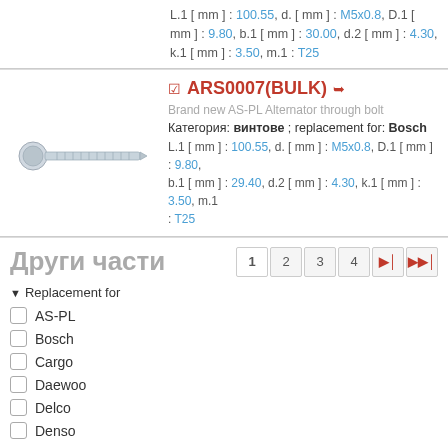L.1 [ mm ] : 100.55, d. [ mm ] : M5x0.8, D.1 [ mm ] : 9.80, b.1 [ mm ] : 30.00, d.2 [ mm ] : 4.30, k.1 [ mm ] : 3.50, m.1 : T25
ARS0007(BULK)
Brand new AS-PL Alternator through bolt
Категория: винтове ; replacement for: Bosch
L.1 [ mm ] : 100.55, d. [ mm ] : M5x0.8, D.1 [ mm ] : 9.80, b.1 [ mm ] : 29.40, d.2 [ mm ] : 4.30, k.1 [ mm ] : 3.50, m.1 : T25
Други части
Replacement for
AS-PL
Bosch
Cargo
Daewoo
Delco
Denso
Filter by features